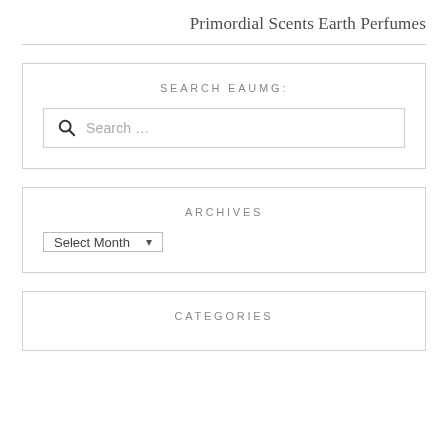Primordial Scents Earth Perfumes
SEARCH EAUMG:
[Figure (other): Search input box with magnifying glass icon and placeholder text 'Search ...']
ARCHIVES
[Figure (other): Dropdown select element labeled 'Select Month' with a down-arrow chevron]
CATEGORIES